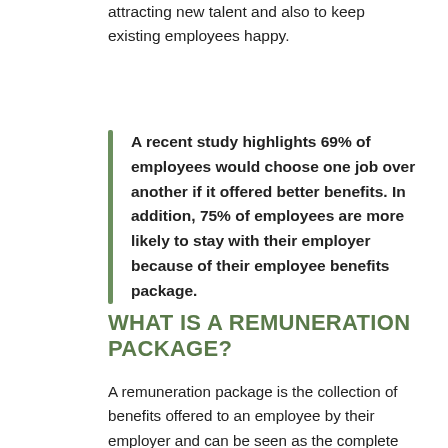attracting new talent and also to keep existing employees happy.
A recent study highlights 69% of employees would choose one job over another if it offered better benefits. In addition, 75% of employees are more likely to stay with their employer because of their employee benefits package.
WHAT IS A REMUNERATION PACKAGE?
A remuneration package is the collection of benefits offered to an employee by their employer and can be seen as the complete offering by an employer. It includes an employee's wage or salary, but more appealing packages will also offer other benefits such as; bonuses, enhanced pension schemes, enhanced